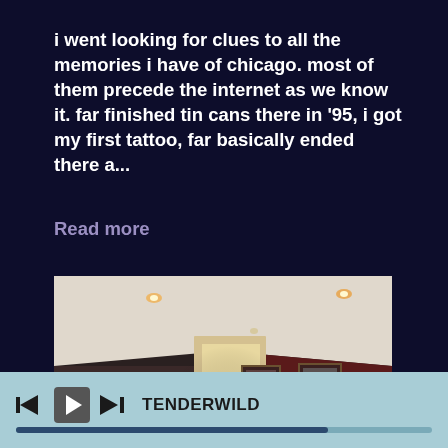i went looking for clues to all the memories i have of chicago. most of them precede the internet as we know it. far finished tin cans there in '95, i got my first tattoo, far basically ended there a...
Read more
[Figure (photo): Interior room photo showing a ceiling with recessed lights, dark red/maroon walls, framed pictures on the wall, a doorway with bright natural light, and a person seated in the background]
TENDERWILD